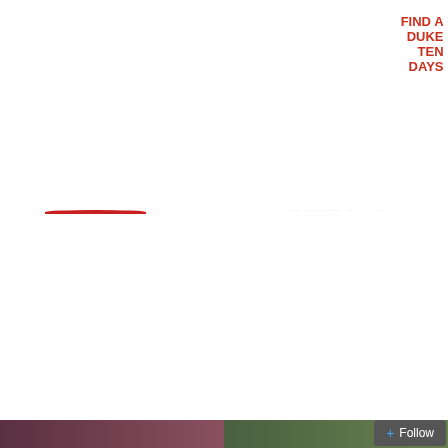[Figure (illustration): Book cover: Yuletide Truce by Sandra Schwab. A young man with a red scarf against a Gothic arch background. Title in gold italic script, author name in large gold serif letters at bottom.]
[Figure (illustration): Book cover: How to Find a Duke in Ten Days by Grace Burrowes, Shana Galen, Carolyn Jewel. A man in period dress standing before a large estate. Title in bold red serif letters, authors listed at top.]
[Figure (illustration): Book cover: Lord of Misrule by Gail Eastwood, Regency Romance. A man wearing a red top hat in a winter scene. Title in gold italic script, author name in white letters at bottom.]
[Figure (illustration): Book cover: Ripe for Seduction by Isobel Carr, Bestselling Author. A couple in an embrace against a red background. Title in white italic script, with tagline 'and ready for capture', blurb text at top.]
[Figure (illustration): Partial book covers visible at bottom of page (cropped).]
Follow